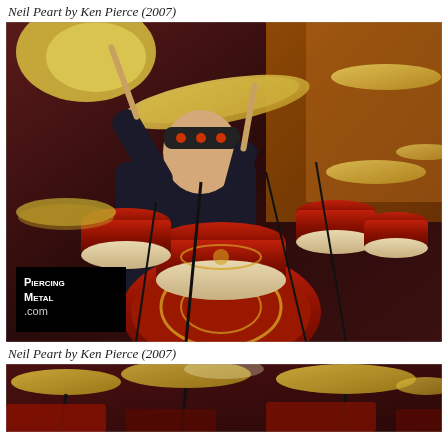Neil Peart by Ken Pierce (2007)
[Figure (photo): Neil Peart playing a large red drum kit on stage, with cymbals and multiple tom drums, watermark reads PIERCING METAL .COM, photo by Ken Pierce 2007]
Neil Peart by Ken Pierce (2007)
[Figure (photo): Partial view of Neil Peart's drum kit on stage with cymbals and drum hardware visible, bottom portion of a concert photo by Ken Pierce 2007]